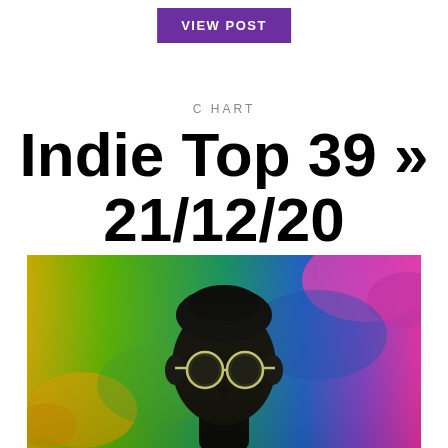VIEW POST
CHART
Indie Top 39 » 21/12/20
[Figure (photo): Person wearing round sunglasses against a vivid rainbow-colored background with colorful smoke — yellows, greens, blues, and magentas]